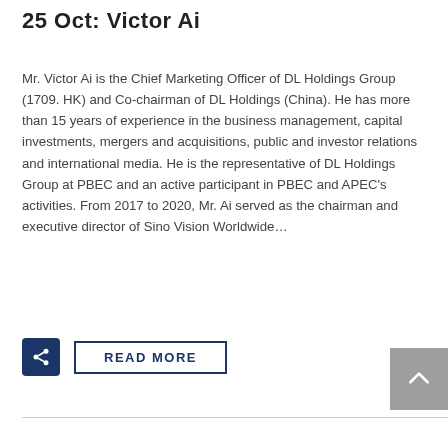25 Oct: Victor Ai
Mr. Victor Ai is the Chief Marketing Officer of DL Holdings Group (1709. HK) and Co-chairman of DL Holdings (China). He has more than 15 years of experience in the business management, capital investments, mergers and acquisitions, public and investor relations and international media. He is the representative of DL Holdings Group at PBEC and an active participant in PBEC and APEC's activities. From 2017 to 2020, Mr. Ai served as the chairman and executive director of Sino Vision Worldwide…